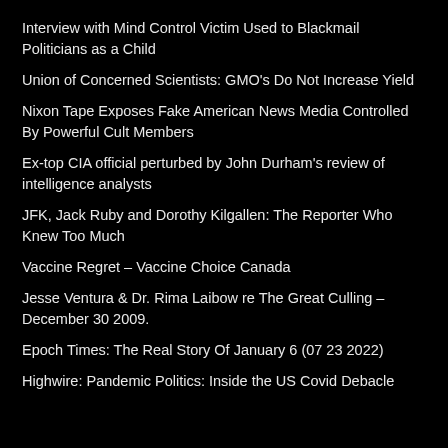Interview with Mind Control Victim Used to Blackmail Politicians as a Child
Union of Concerned Scientists: GMO's Do Not Increase Yield
Nixon Tape Exposes Fake American News Media Controlled By Powerful Cult Members
Ex-top CIA official perturbed by John Durham's review of intelligence analysts
JFK, Jack Ruby and Dorothy Kilgallen: The Reporter Who Knew Too Much
Vaccine Regret – Vaccine Choice Canada
Jesse Ventura & Dr. Rima Laibow re The Great Culling – December 30 2009.
Epoch Times: The Real Story Of January 6 (07 23 2022)
Highwire: Pandemic Politics: Inside the US Covid Debacle